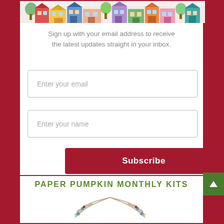[Figure (illustration): Colorful illustrated town/neighborhood strip with small buildings and trees at the top]
Sign up with your email address to receive the latest updates straight in your inbox.
Enter your email
Enter your name
Subscribe
PAPER PUMPKIN MONTHLY KITS
[Figure (illustration): Decorative olive branch / laurel wreath illustration at the bottom]